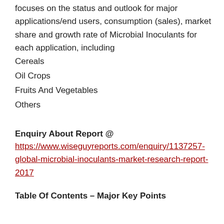focuses on the status and outlook for major applications/end users, consumption (sales), market share and growth rate of Microbial Inoculants for each application, including
Cereals
Oil Crops
Fruits And Vegetables
Others
Enquiry About Report @
https://www.wiseguyreports.com/enquiry/1137257-global-microbial-inoculants-market-research-report-2017
Table Of Contents – Major Key Points